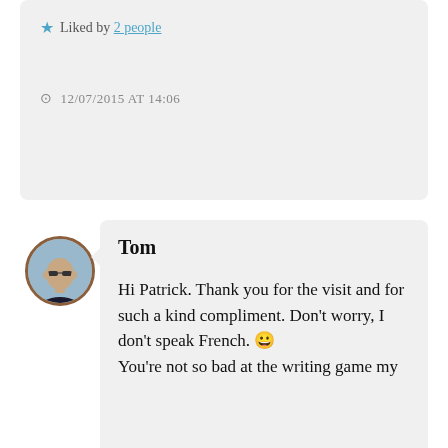★ Liked by 2 people
🕐 12/07/2015 AT 14:06
Tom
Hi Patrick. Thank you for the visit and for such a kind compliment. Don't worry, I don't speak French. 😀 You're not so bad at the writing game my